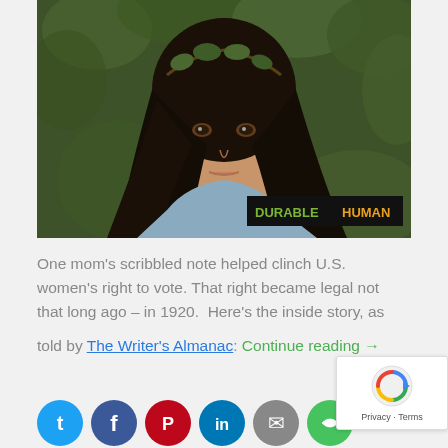[Figure (photo): Portrait photo of a young woman with long black hair wearing a leafy crown/wreath, with green foliage background. A black overlay in the bottom right reads 'DURABLEHUMAN' in green and orange text.]
One mom's scribbled note helped clinch U.S. women's right to vote. That right became legal not that long ago – in 1920.  Here's the inside story, as told by The Writer's Almanac: Continue reading →
[Figure (other): Row of social media sharing icons: Twitter (teal), Facebook (dark blue), Pinterest (red), LinkedIn (teal), Email (grey), Share (green)]
[Figure (other): reCAPTCHA widget with Google logo and Privacy - Terms text]